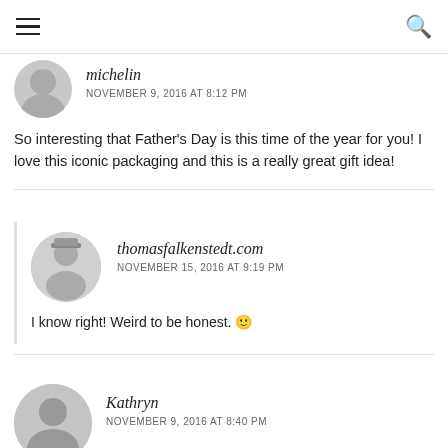michelin
NOVEMBER 9, 2016 AT 8:12 PM
So interesting that Father's Day is this time of the year for you! I love this iconic packaging and this is a really great gift idea!
thomasfalkenstedt.com
NOVEMBER 15, 2016 AT 9:19 PM
I know right! Weird to be honest. 🙂
Kathryn
NOVEMBER 9, 2016 AT 8:40 PM